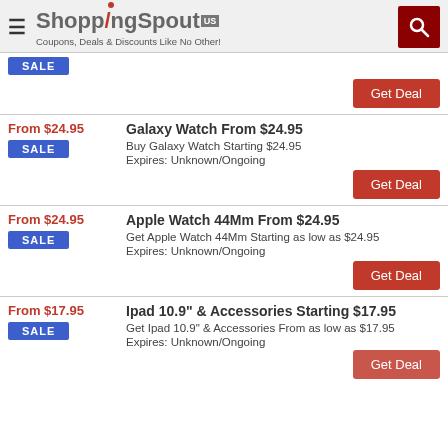ShoppingSpout.us — Coupons, Deals & Discounts Like No Other!
SALE | Get Deal
Galaxy Watch From $24.95
Buy Galaxy Watch Starting $24.95
Expires: Unknown/Ongoing
SALE | Get Deal
Apple Watch 44Mm From $24.95
Get Apple Watch 44Mm Starting as low as $24.95
Expires: Unknown/Ongoing
SALE | Get Deal
Ipad 10.9" & Accessories Starting $17.95
Get Ipad 10.9" & Accessories From as low as $17.95
Expires: Unknown/Ongoing
SALE | Get Deal